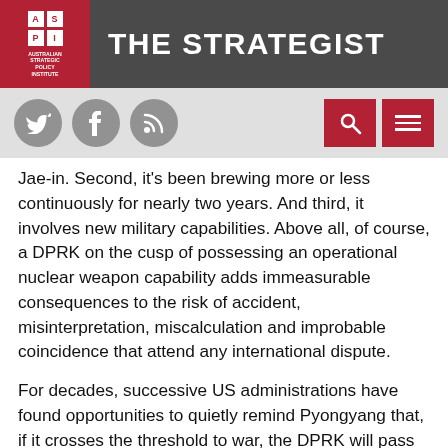THE STRATEGIST — Australian Strategic Policy Institute
Jae-in. Second, it's been brewing more or less continuously for nearly two years. And third, it involves new military capabilities. Above all, of course, a DPRK on the cusp of possessing an operational nuclear weapon capability adds immeasurable consequences to the risk of accident, misinterpretation, miscalculation and improbable coincidence that attend any international dispute.
For decades, successive US administrations have found opportunities to quietly remind Pyongyang that, if it crosses the threshold to war, the DPRK will pass into history. President Trump has taken a novel approach: he has not only succumbed to the posturing challenge that North Korea routinely throws out in crises, but has elected to bring every dimension of America's military power to bear in the slanging match. At one